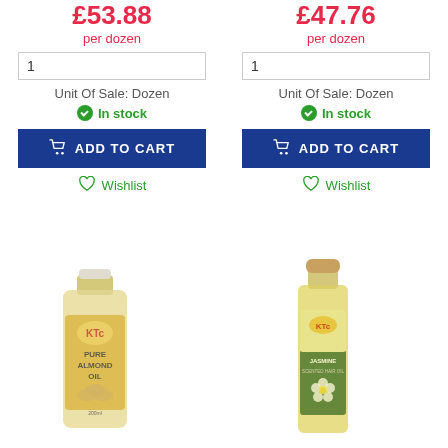£53.88 per dozen
1
Unit Of Sale: Dozen
In stock
ADD TO CART
Wishlist
£47.76 per dozen
1
Unit Of Sale: Dozen
In stock
ADD TO CART
Wishlist
[Figure (photo): KTC Pure Almond Oil bottle, 200ml, yellow label]
[Figure (photo): KTC Jasmine Scented Hair Oil bottle, tall glass bottle with green label and wooden cap]